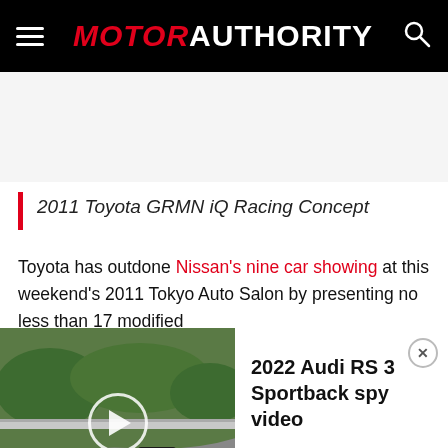MOTOR AUTHORITY
2011 Toyota GRMN iQ Racing Concept
Toyota has outdone Nissan's nine car showing at this weekend's 2011 Tokyo Auto Salon by presenting no less than 17 modified
[Figure (screenshot): Video widget showing 2022 Audi RS 3 Sportback spy video with Nurburgring track thumbnail and play button]
2022 Audi RS 3 Sportback spy video